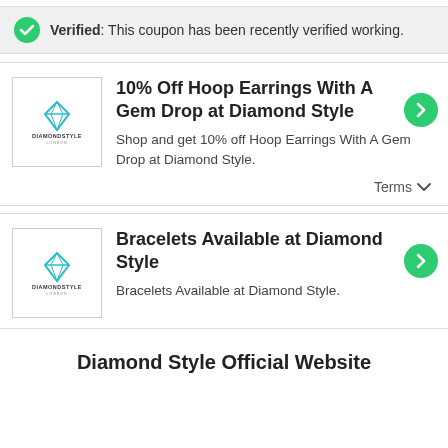Verified: This coupon has been recently verified working.
10% Off Hoop Earrings With A Gem Drop at Diamond Style
Shop and get 10% off Hoop Earrings With A Gem Drop at Diamond Style.
Terms
Bracelets Available at Diamond Style
Bracelets Available at Diamond Style.
Diamond Style Official Website